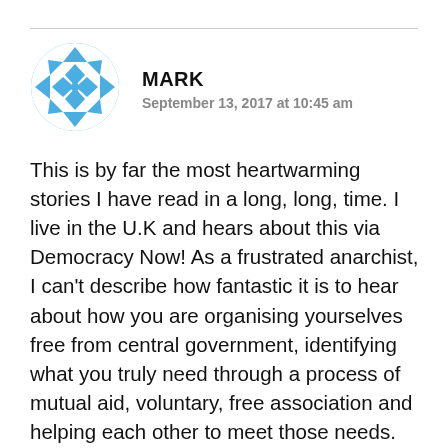MARK
September 13, 2017 at 10:45 am
This is by far the most heartwarming stories I have read in a long, long, time. I live in the U.K and hears about this via Democracy Now! As a frustrated anarchist, I can't describe how fantastic it is to hear about how you are organising yourselves free from central government, identifying what you truly need through a process of mutual aid, voluntary, free association and helping each other to meet those needs. My only concern is that once your area recovers, what you have established will lose momentum and will sadly become nothing